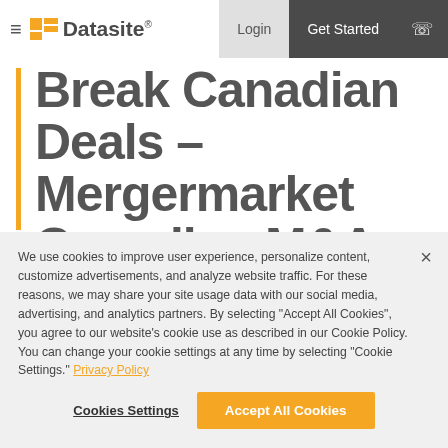≡ Datasite® | Login | Get Started | ☎
Break Canadian Deals – Mergermarket Canadian M&A
We use cookies to improve user experience, personalize content, customize advertisements, and analyze website traffic. For these reasons, we may share your site usage data with our social media, advertising, and analytics partners. By selecting "Accept All Cookies", you agree to our website's cookie use as described in our Cookie Policy. You can change your cookie settings at any time by selecting "Cookie Settings." Privacy Policy
Cookies Settings | Accept All Cookies